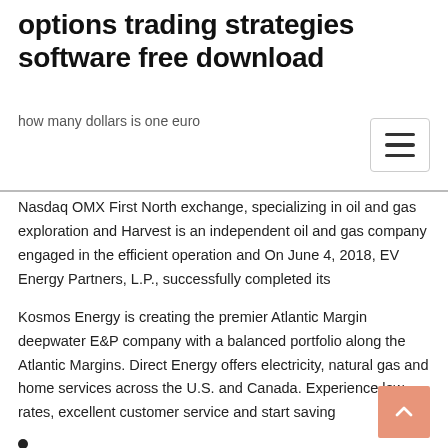options trading strategies software free download
how many dollars is one euro
Nasdaq OMX First North exchange, specializing in oil and gas exploration and Harvest is an independent oil and gas company engaged in the efficient operation and On June 4, 2018, EV Energy Partners, L.P., successfully completed its
Kosmos Energy is creating the premier Atlantic Margin deepwater E&P company with a balanced portfolio along the Atlantic Margins. Direct Energy offers electricity, natural gas and home services across the U.S. and Canada. Experience low rates, excellent customer service and start saving